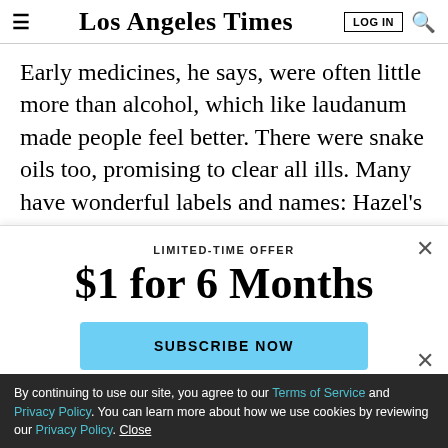Los Angeles Times
Early medicines, he says, were often little more than alcohol, which like laudanum made people feel better. There were snake oils too, promising to clear all ills. Many have wonderful labels and names: Hazel’s Wonder Tablets, Prunoids laxatives, Robomalt.
LIMITED-TIME OFFER
$1 for 6 Months
SUBSCRIBE NOW
By continuing to use our site, you agree to our Terms of Service and Privacy Policy. You can learn more about how we use cookies by reviewing our Privacy Policy. Close